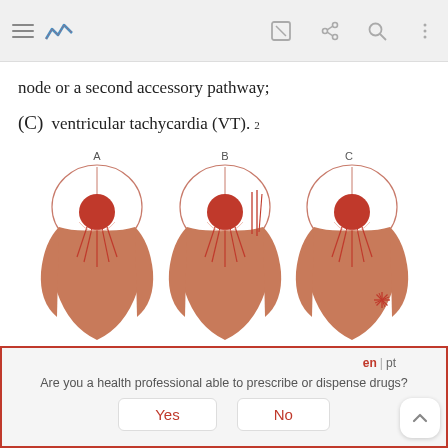App navigation bar with hamburger menu, logo, edit, share, search, and more icons
node or a second accessory pathway;
(C) ventricular tachycardia (VT).²
[Figure (illustration): Three heart diagrams labeled A, B, and C showing different types of tachycardia mechanisms. Each diagram shows a stylized heart from below with a red node (AV node) and conduction pathways. Diagram A shows normal-like pathways, Diagram B shows accessory pathway with extra lines, Diagram C shows a starburst/ectopic focus in the ventricle.]
Are you a health professional able to prescribe or dispense drugs?
Yes
No